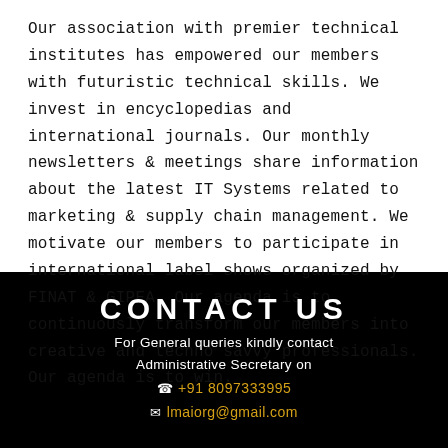Our association with premier technical institutes has empowered our members with futuristic technical skills. We invest in encyclopedias and international journals. Our monthly newsletters & meetings share information about the latest IT Systems related to marketing & supply chain management. We motivate our members to participate in international label shows organized by FINAT & GIPEA. Our agenda is to continuously transform our members into creative and techno savvy professionals. Our agenda is to win.
CONTACT US
For General queries kindly contact Administrative Secretary on +91 8097333995 lmaiorg@gmail.com